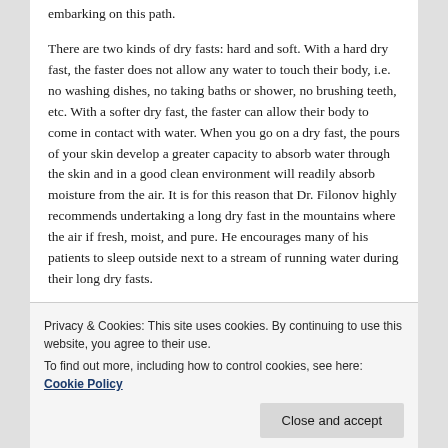embarking on this path.
There are two kinds of dry fasts: hard and soft. With a hard dry fast, the faster does not allow any water to touch their body, i.e. no washing dishes, no taking baths or shower, no brushing teeth, etc. With a softer dry fast, the faster can allow their body to come in contact with water. When you go on a dry fast, the pours of your skin develop a greater capacity to absorb water through the skin and in a good clean environment will readily absorb moisture from the air. It is for this reason that Dr. Filonov highly recommends undertaking a long dry fast in the mountains where the air if fresh, moist, and pure. He encourages many of his patients to sleep outside next to a stream of running water during their long dry fasts.
Privacy & Cookies: This site uses cookies. By continuing to use this website, you agree to their use.
To find out more, including how to control cookies, see here: Cookie Policy